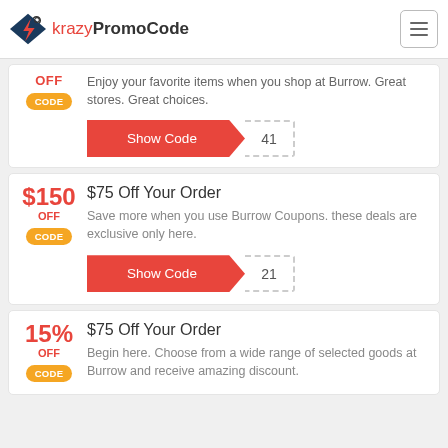krazyPromoCode
OFF
Enjoy your favorite items when you shop at Burrow. Great stores. Great choices.
CODE
Show Code 41
$150 OFF
$75 Off Your Order
Save more when you use Burrow Coupons. these deals are exclusive only here.
CODE
Show Code 21
15% OFF
$75 Off Your Order
Begin here. Choose from a wide range of selected goods at Burrow and receive amazing discount.
CODE